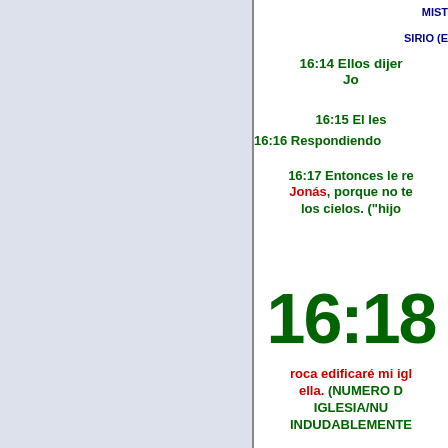MIST
SIRIO (E
16:14 Ellos dijer Jo
16:15 El les
16:16 Respondiendo
16:17 Entonces le re Jonás, porque no te los cielos. ("hijo
16:18
roca edificaré mi igl ella. (NUMERO D IGLESIA/NU INDUDABLEMENTE